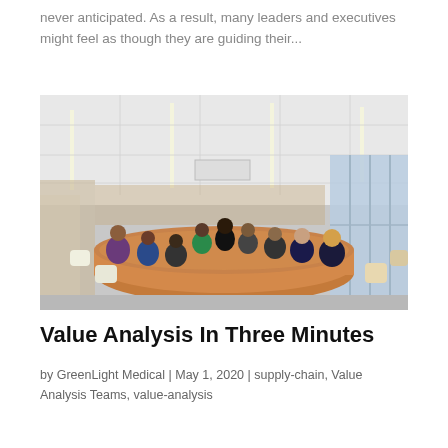never anticipated. As a result, many leaders and executives might feel as though they are guiding their...
[Figure (photo): A group of people sitting around a large oval conference table in a modern boardroom with floor-to-ceiling windows and recessed ceiling lights.]
Value Analysis In Three Minutes
by GreenLight Medical | May 1, 2020 | supply-chain, Value Analysis Teams, value-analysis